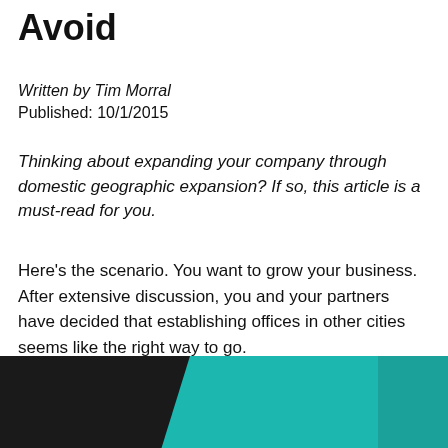Avoid
Written by Tim Morral
Published: 10/1/2015
Thinking about expanding your company through domestic geographic expansion? If so, this article is a must-read for you.
Here's the scenario. You want to grow your business. After extensive discussion, you and your partners have decided that establishing offices in other cities seems like the right way to go.
[Figure (photo): Dark silhouetted figure against a teal/turquoise background, partially visible at bottom of page.]